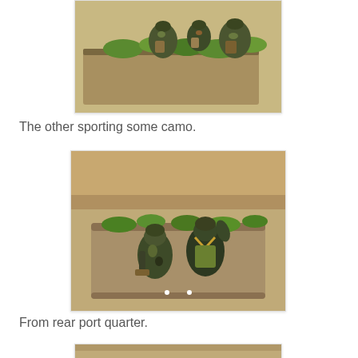[Figure (photo): Top portion of a photo showing miniature wargaming figures (soldiers) with camouflage paint on a textured base with green grass tufts and sandy ground, cropped at top of page]
The other sporting some camo.
[Figure (photo): Two painted miniature wargaming soldiers crouching on a rectangular base with grass tufts and sandy texture, photographed from rear port quarter angle]
From rear port quarter.
[Figure (photo): Partial view of another miniature wargaming photo at bottom of page, cropped]